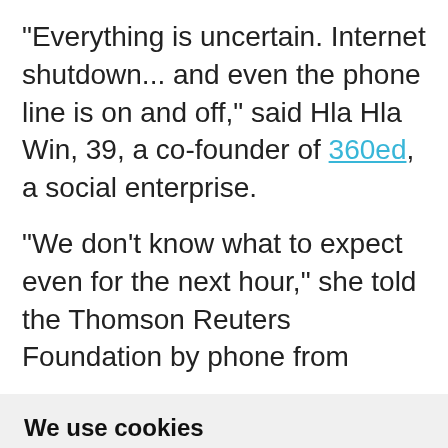"Everything is uncertain. Internet shutdown... and even the phone line is on and off," said Hla Hla Win, 39, a co-founder of 360ed, a social enterprise.
"We don't know what to expect even for the next hour," she told the Thomson Reuters Foundation by phone from
We use cookies
We use cookies and other tracking technologies to improve your browsing experience on our website, to show you personalized content and targeted ads, to analyze our website traffic, and to understand where our visitors are coming from.